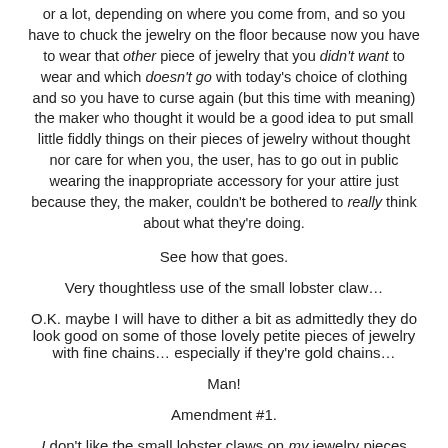or a lot, depending on where you come from, and so you have to chuck the jewelry on the floor because now you have to wear that other piece of jewelry that you didn't want to wear and which doesn't go with today's choice of clothing and so you have to curse again (but this time with meaning) the maker who thought it would be a good idea to put small little fiddly things on their pieces of jewelry without thought nor care for when you, the user, has to go out in public wearing the inappropriate accessory for your attire just because they, the maker, couldn't be bothered to really think about what they're doing.
See how that goes.
Very thoughtless use of the small lobster claw…
O.K. maybe I will have to dither a bit as admittedly they do look good on some of those lovely petite pieces of jewelry with fine chains… especially if they're gold chains…
Man!
Amendment #1.
I don't like the small lobster claws on my jewelry pieces because they're fiddly and they just look like little, I can't be bothered so I'll just use one of these small things, etc., etc., and so forth…